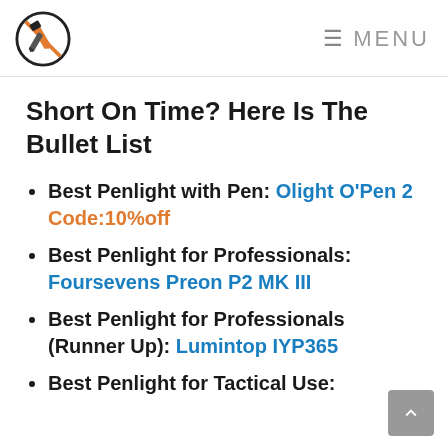MENU
Short On Time? Here Is The Bullet List
Best Penlight with Pen: Olight O'Pen 2 Code:10%off
Best Penlight for Professionals: Foursevens Preon P2 MK III
Best Penlight for Professionals (Runner Up): Lumintop IYP365
Best Penlight for Tactical Use: